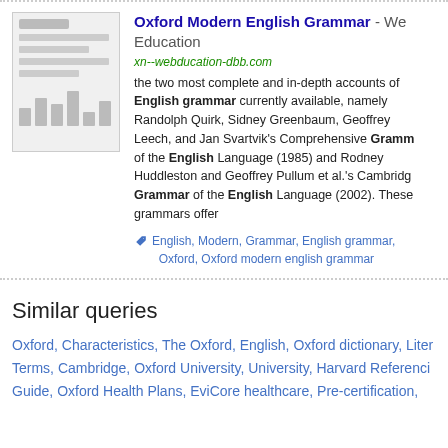[Figure (screenshot): Thumbnail image of Oxford Modern English Grammar book/document preview showing lines and bar chart elements]
Oxford Modern English Grammar - Web Education
xn--webducation-dbb.com
the two most complete and in-depth accounts of English grammar currently available, namely Randolph Quirk, Sidney Greenbaum, Geoffrey Leech, and Jan Svartvik's Comprehensive Grammar of the English Language (1985) and Rodney Huddleston and Geoffrey Pullum et al.'s Cambridge Grammar of the English Language (2002). These grammars offer
English, Modern, Grammar, English grammar, Oxford, Oxford modern english grammar
Similar queries
Oxford, Characteristics, The Oxford, English, Oxford dictionary, Literary Terms, Cambridge, Oxford University, University, Harvard Referencing Guide, Oxford Health Plans, EviCore healthcare, Pre-certification,